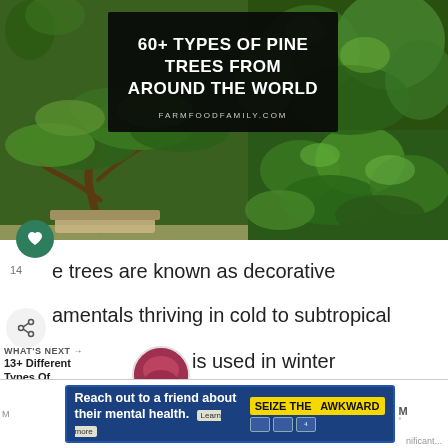[Figure (photo): Collage of pine trees: bonsai pine on left, dense pine branch closeup on right, with title overlay on dark background reading '60+ TYPES OF PINE TREES FROM AROUND THE WORLD' and 'FARMFOODFAMILY.COM']
Pine trees are known as decorative ornamentals thriving in cold to subtropical climates. Pine is used in winter landscapes for Christmas trees.
WHAT'S NEXT → 13+ Different Types Of...
is used in winter landscapes for
Christmas trees.
Reach out to a friend about their mental health. Learn more SEIZE THE AWKWARD